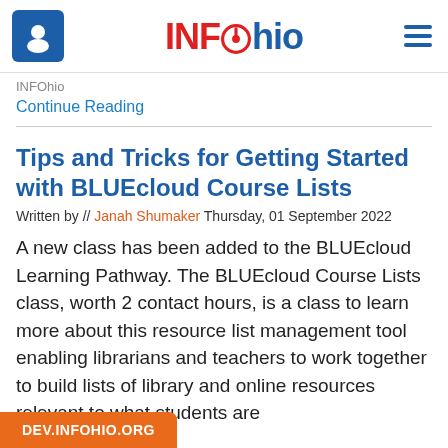INFOhio
Continue Reading
Tips and Tricks for Getting Started with BLUEcloud Course Lists
Written by // Janah Shumaker Thursday, 01 September 2022
A new class has been added to the BLUEcloud Learning Pathway. The BLUEcloud Course Lists class, worth 2 contact hours, is a class to learn more about this resource list management tool enabling librarians and teachers to work together to build lists of library and online resources relevant to what students are
DEV.INFOHIO.ORG